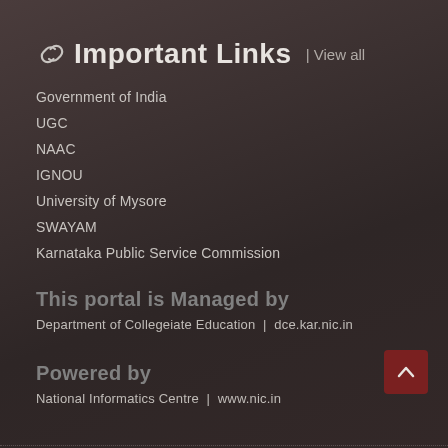Important Links | View all
Government of India
UGC
NAAC
IGNOU
University of Mysore
SWAYAM
Karnataka Public Service Commission
This portal is Managed by
Department of Collegeiate Education  |  dce.kar.nic.in
Powered by
National Informatics Centre  |  www.nic.in